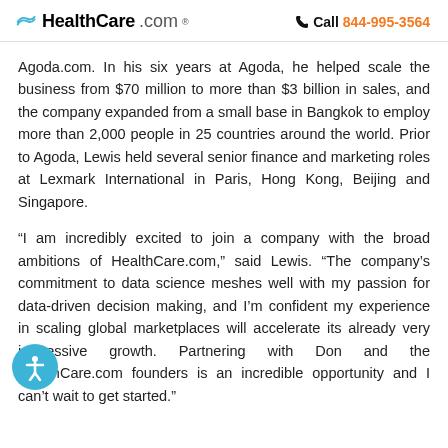HealthCare.com  Call 844-995-3564
Agoda.com. In his six years at Agoda, he helped scale the business from $70 million to more than $3 billion in sales, and the company expanded from a small base in Bangkok to employ more than 2,000 people in 25 countries around the world. Prior to Agoda, Lewis held several senior finance and marketing roles at Lexmark International in Paris, Hong Kong, Beijing and Singapore.
“I am incredibly excited to join a company with the broad ambitions of HealthCare.com,” said Lewis. “The company’s commitment to data science meshes well with my passion for data-driven decision making, and I’m confident my experience in scaling global marketplaces will accelerate its already very impressive growth. Partnering with Don and the HealthCare.com founders is an incredible opportunity and I can’t wait to get started.”